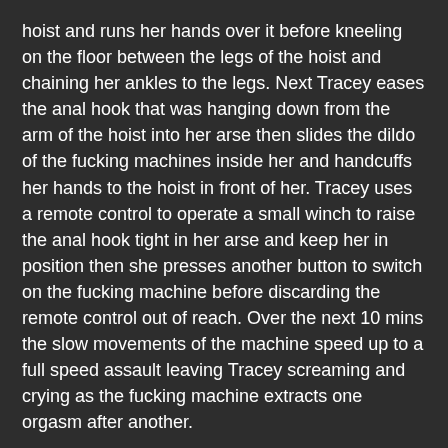hoist and runs her hands over it before kneeling on the floor between the legs of the hoist and chaining her ankles to the legs. Next Tracey eases the anal hook that was hanging down from the arm of the hoist into her arse then slides the dildo of the fucking machines inside her and handcuffs her hands to the hoist in front of her. Tracey uses a remote control to operate a small winch to raise the anal hook tight in her arse and keep her in position then she presses another button to switch on the fucking machine before discarding the remote control out of reach. Over the next 10 mins the slow movements of the machine speed up to a full speed assault leaving Tracey screaming and crying as the fucking machine extracts one orgasm after another.
Format: mp4
Duration: 17:46
Video: 1920×1080, AVC (H.264), 4832kbps